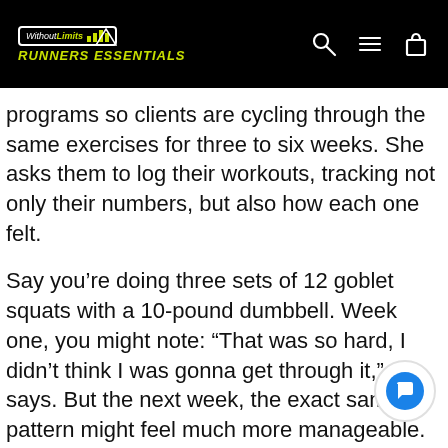Without Limits RUNNERS ESSENTIALS
programs so clients are cycling through the same exercises for three to six weeks. She asks them to log their workouts, tracking not only their numbers, but also how each one felt.
Say you're doing three sets of 12 goblet squats with a 10-pound dumbbell. Week one, you might note: “That was so hard, I didn’t think I was gonna get through it,” she says. But the next week, the exact same pattern might feel much more manageable. That’s progress, she says.
Similar concepts apply to cardio. You might finish a interval less breathless Earn Rewards e week before, for